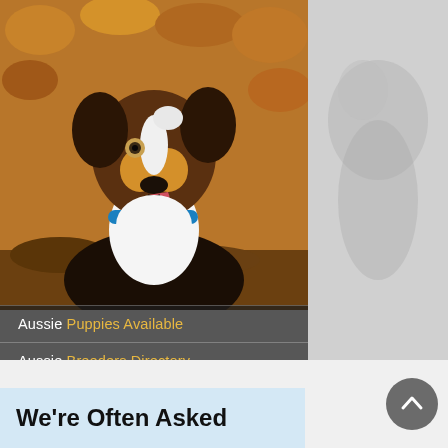[Figure (photo): Australian Shepherd dog with blue collar looking up, outdoors with autumn foliage background]
Aussie Puppies Available
Aussie Breeders Directory
Aussie Breeder? Get Listed
Australian Shepherd Rescue
[Figure (photo): Faded/ghosted image of a dog on the right side]
We're Often Asked